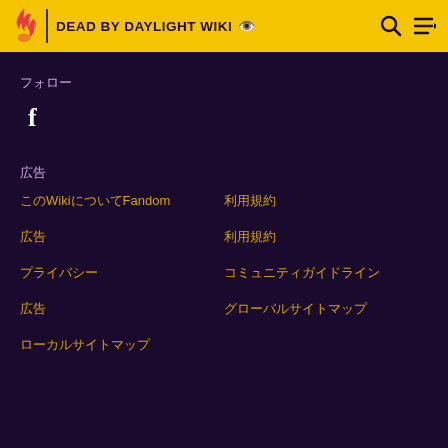DEAD BY DAYLIGHT WIKI
フォロー
[Figure (logo): Facebook logo icon in white]
広告
このWikiについてFandom
利用規約
プライバシー
プライバシーの選択
広告
利用規約
コミュニティガイドライン
グローバルサイトマップ
ローカルサイトマップ